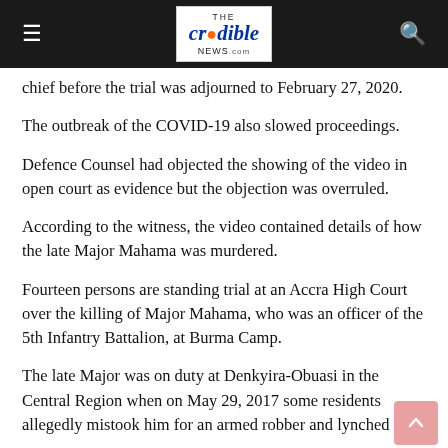THE CREDIBLE NEWS
chief before the trial was adjourned to February 27, 2020.
The outbreak of the COVID-19 also slowed proceedings.
Defence Counsel had objected the showing of the video in open court as evidence but the objection was overruled.
According to the witness, the video contained details of how the late Major Mahama was murdered.
Fourteen persons are standing trial at an Accra High Court over the killing of Major Mahama, who was an officer of the 5th Infantry Battalion, at Burma Camp.
The late Major was on duty at Denkyira-Obuasi in the Central Region when on May 29, 2017 some residents allegedly mistook him for an armed robber and lynched him.
The mob had ignored his persistent plea that he was an officer